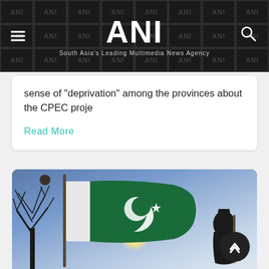ANI - South Asia's Leading Multimedia News Agency
sense of "deprivation" among the provinces about the CPEC proje
Read More
[Figure (photo): Pakistan flag waving against a blue sky with tree silhouette on the left and a person silhouette in the bottom right]